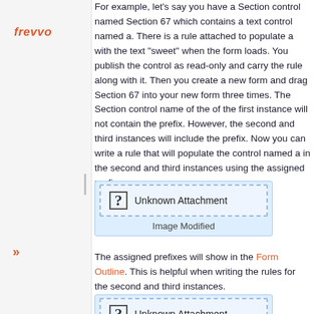For example, let's say you have a Section control named Section 67 which contains a text control named a. There is a rule attached to populate a with the text "sweet" when the form loads. You publish the control as read-only and carry the rule along with it. Then you create a new form and drag Section 67 into your new form three times. The Section control name of the of the first instance will not contain the prefix. However, the second and third instances will include the prefix. Now you can write a rule that will populate the control named a in the second and third instances using the assigned prefix.
[Figure (screenshot): Unknown Attachment placeholder image box with dashed border labeled 'Image Modified']
The assigned prefixes will show in the Form Outline. This is helpful when writing the rules for the second and third instances.
[Figure (screenshot): Unknown Attachment placeholder image box with dashed border labeled 'Image Modified']